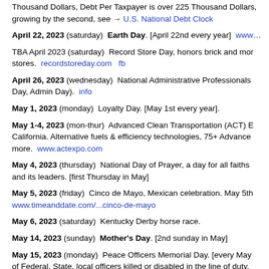Thousand Dollars, Debt Per Taxpayer is over 225 Thousand Dollars, growing by the second, see → U.S. National Debt Clock
April 22, 2023 (saturday) Earth Day. [April 22nd every year] www...
TBA April 2023 (saturday) Record Store Day, honors brick and mortar stores. recordstoreday.com fb
April 26, 2023 (wednesday) National Administrative Professionals Day, Admin Day). info
May 1, 2023 (monday) Loyalty Day. [May 1st every year].
May 1-4, 2023 (mon-thur) Advanced Clean Transportation (ACT) E... California. Alternative fuels & efficiency technologies, 75+ Advance... more. www.actexpo.com
May 4, 2023 (thursday) National Day of Prayer, a day for all faiths and its leaders. [first Thursday in May]
May 5, 2023 (friday) Cinco de Mayo, Mexican celebration. May 5th... www.timeanddate.com/...cinco-de-mayo
May 6, 2023 (saturday) Kentucky Derby horse race.
May 14, 2023 (sunday) Mother's Day. [2nd sunday in May]
May 15, 2023 (monday) Peace Officers Memorial Day. [every May... of Federal, State, local officers killed or disabled in the line of duty. research.archives.gov/id/299877